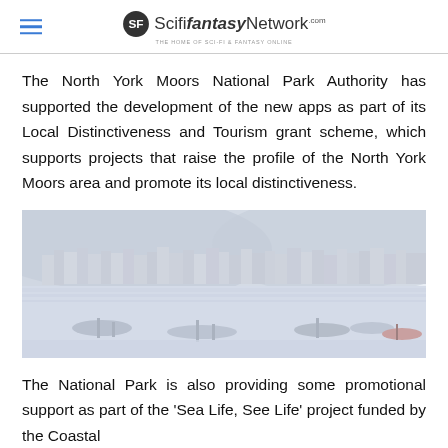ScifiFantasyNetwork.com — The Home of Sci-Fi & Fantasy Online
The North York Moors National Park Authority has supported the development of the new apps as part of its Local Distinctiveness and Tourism grant scheme, which supports projects that raise the profile of the North York Moors area and promote its local distinctiveness.
[Figure (photo): A coastal harbour town with white-painted buildings rising up a hillside, boats moored in the calm water in the foreground, likely Staithes or Whitby in the North York Moors area.]
The National Park is also providing some promotional support as part of the 'Sea Life, See Life' project funded by the Coastal